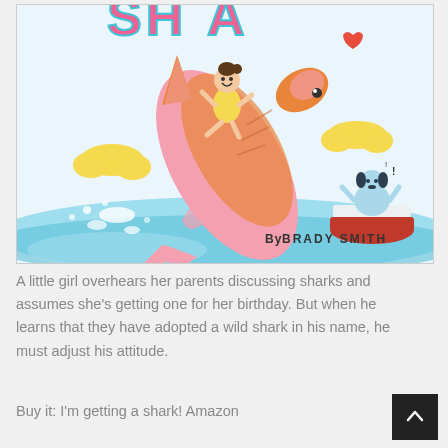[Figure (illustration): Children's book cover illustration showing a girl riding a large pink and orange shark leaping out of the water, with a dog in a red boat nearby, yellow clouds, and the text 'By Brady Smith' at the bottom right.]
A little girl overhears her parents discussing sharks and assumes she's getting one for her birthday. But when he learns that they have adopted a wild shark in his name, he must adjust his attitude.
Buy it: I'm getting a shark! Amazon